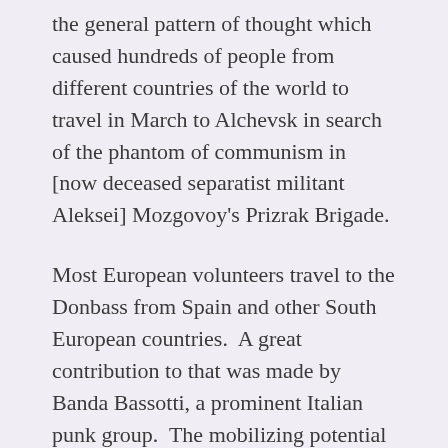the general pattern of thought which caused hundreds of people from different countries of the world to travel in March to Alchevsk in search of the phantom of communism in [now deceased separatist militant Aleksei] Mozgovoy's Prizrak Brigade.
Most European volunteers travel to the Donbass from Spain and other South European countries.  A great contribution to that was made by Banda Bassotti, a prominent Italian punk group.  The mobilizing potential of musicians can sometimes be greater than that of parties and civic movements.  European communists fighting in the ranks of Mozgovoy and other field commanders fell into Novorossiya's trap largely due to the unsophisticated propaganda ventilated by these “punks” professing Stalinist views.  They actively channel all aforementioned clichés while diluting them with their own stupidity.  They mix “leftist” rhetoric with national-chauvinist propaganda – Lenin and Trotsky might not have executed them, but